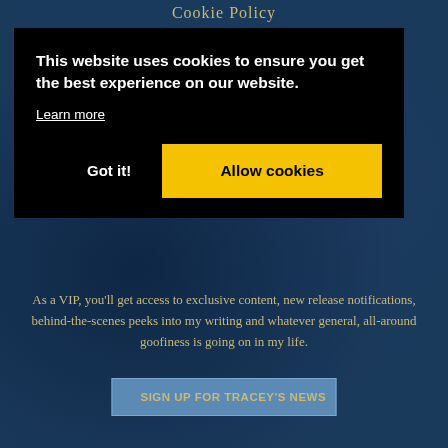Cookie Policy
This website uses cookies to ensure you get the best experience on our website.
Learn more
Got it!
Allow cookies
As a VIP, you'll get access to exclusive content, new release notifications, behind-the-scenes peeks into my writing and whatever general, all-around goofiness is going on in my life.
SIGN UP FOR TRACEY'S NEWS